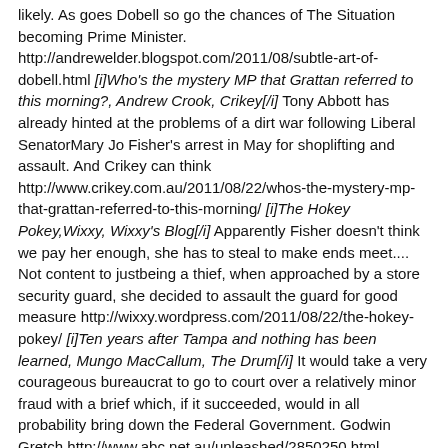likely. As goes Dobell so go the chances of The Situation becoming Prime Minister. http://andrewelder.blogspot.com/2011/08/subtle-art-of-dobell.html [i]Who's the mystery MP that Grattan referred to this morning?, Andrew Crook, Crikey[/i] Tony Abbott has already hinted at the problems of a dirt war following Liberal SenatorMary Jo Fisher's arrest in May for shoplifting and assault. And Crikey can think http://www.crikey.com.au/2011/08/22/whos-the-mystery-mp-that-grattan-referred-to-this-morning/ [i]The Hokey Pokey,Wixxy, Wixxy's Blog[/i] Apparently Fisher doesn't think we pay her enough, she has to steal to make ends meet.... Not content to justbeing a thief, when approached by a store security guard, she decided to assault the guard for good measure http://wixxy.wordpress.com/2011/08/22/the-hokey-pokey/ [i]Ten years after Tampa and nothing has been learned, Mungo MacCallum, The Drum[/i] It would take a very courageous bureaucrat to go to court over a relatively minor fraud with a brief which, if it succeeded, would in all probability bring down the Federal Government. Godwin Gretch http://www.abc.net.au/unleashed/2850250.html [i]What Happens when the Speaker Resigns? Antony Green[/i] But if the